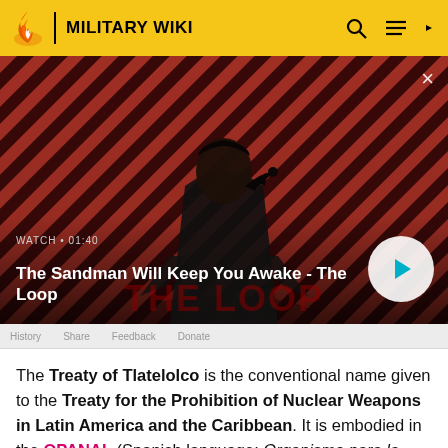MILITARY WIKI
[Figure (screenshot): Video thumbnail for 'The Sandman Will Keep You Awake - The Loop' with WATCH • 01:40 label and play button, over a red and dark striped background with a dark-clothed figure.]
WATCH • 01:40
The Sandman Will Keep You Awake - The Loop
The Treaty of Tlatelolco is the conventional name given to the Treaty for the Prohibition of Nuclear Weapons in Latin America and the Caribbean. It is embodied in the OPANAL (Spanish language: Organismo para la